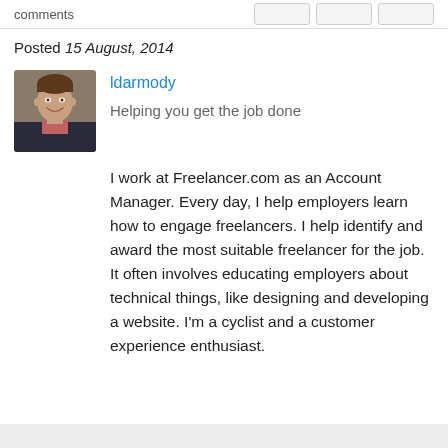comments
Posted 15 August, 2014
[Figure (photo): Profile photo of ldarmody — a smiling man in a dark jacket]
ldarmody
Helping you get the job done
I work at Freelancer.com as an Account Manager. Every day, I help employers learn how to engage freelancers. I help identify and award the most suitable freelancer for the job. It often involves educating employers about technical things, like designing and developing a website. I'm a cyclist and a customer experience enthusiast.